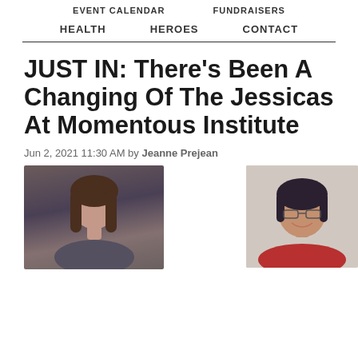EVENT CALENDAR   FUNDRAISERS
HEALTH   HEROES   CONTACT
JUST IN: There’s Been A Changing Of The Jessicas At Momentous Institute
Jun 2, 2021 11:30 AM by Jeanne Prejean
[Figure (photo): Headshot of a woman with long brown hair against a dark background]
[Figure (photo): Headshot of a woman with dark hair wearing glasses and a red jacket, smiling]